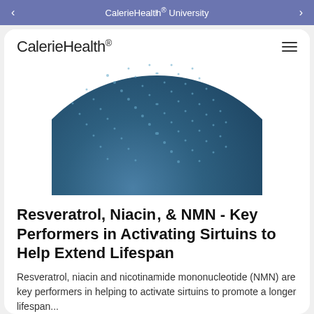CalerieHealth® University
[Figure (illustration): A dark blue spherical globe with diagonal dotted line patterns across its surface, partially cropped at the top]
Resveratrol, Niacin, & NMN - Key Performers in Activating Sirtuins to Help Extend Lifespan
Resveratrol, niacin and nicotinamide mononucleotide (NMN) are key performers in helping to activate sirtuins to promote a longer lifespan...